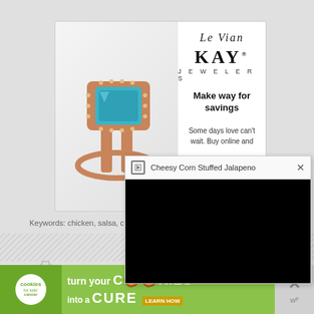[Figure (screenshot): Le Vian Kay Jewelers advertisement showing a rose gold ring with a large teal/blue gemstone surrounded by smaller diamonds, with text 'Make way for savings' and 'Some days love can't wait. Buy online and']
Keywords: chicken, salsa, c...
[Figure (screenshot): Video popup overlay with title 'Cheesy Corn Stuffed Jalapeno' and a black video player screen]
[Figure (screenshot): Bottom banner ad: cookies for kids cancer - 'turn your COOKIES into a CURE LEARN HOW' with green background and cookie logo]